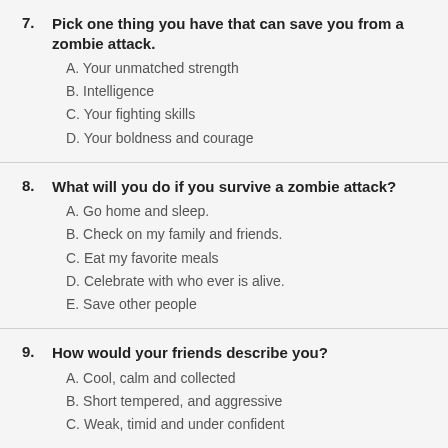7. Pick one thing you have that can save you from a zombie attack.
A. Your unmatched strength
B. Intelligence
C. Your fighting skills
D. Your boldness and courage
8. What will you do if you survive a zombie attack?
A. Go home and sleep.
B. Check on my family and friends.
C. Eat my favorite meals
D. Celebrate with who ever is alive.
E. Save other people
9. How would your friends describe you?
A. Cool, calm and collected
B. Short tempered, and aggressive
C. Weak, timid and under confident